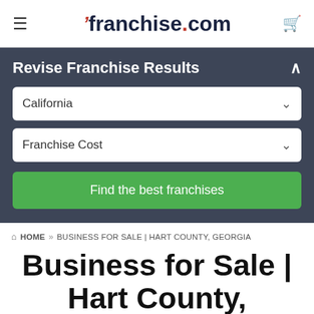≡  franchise.com  🛒
Revise Franchise Results
California
Franchise Cost
Find the best franchises
🏠 HOME » BUSINESS FOR SALE | HART COUNTY, GEORGIA
Business for Sale | Hart County, Georgia
Discover business opportunities, in or around Hart County,